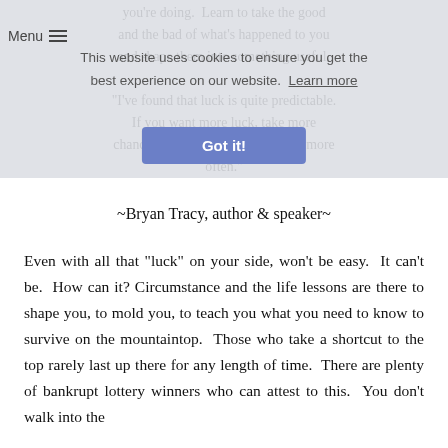you're doing. Learn to take the good and the bad of what's happened to you and shape them into something useful.
"I've found that luck is quite predictable. If you want more luck, take more chances. Be more active. Show up more often."
This website uses cookies to ensure you get the best experience on our website. Learn more
Got it!
~Bryan Tracy, author & speaker~
Even with all that “luck” on your side, won't be easy. It can't be. How can it? Circumstance and the life lessons are there to shape you, to mold you, to teach you what you need to know to survive on the mountaintop. Those who take a shortcut to the top rarely last up there for any length of time. There are plenty of bankrupt lottery winners who can attest to this. You don’t walk into the